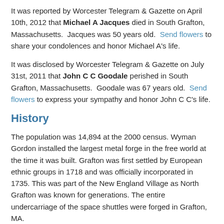It was reported by Worcester Telegram & Gazette on April 10th, 2012 that Michael A Jacques died in South Grafton, Massachusetts.  Jacques was 50 years old.  Send flowers to share your condolences and honor Michael A's life.
It was disclosed by Worcester Telegram & Gazette on July 31st, 2011 that John C C Goodale perished in South Grafton, Massachusetts.  Goodale was 67 years old.  Send flowers to express your sympathy and honor John C C's life.
History
The population was 14,894 at the 2000 census. Wyman Gordon installed the largest metal forge in the free world at the time it was built. Grafton was first settled by European ethnic groups in 1718 and was officially incorporated in 1735. This was part of the New England Village as North Grafton was known for generations. The entire undercarriage of the space shuttles were forged in Grafton, MA.
News